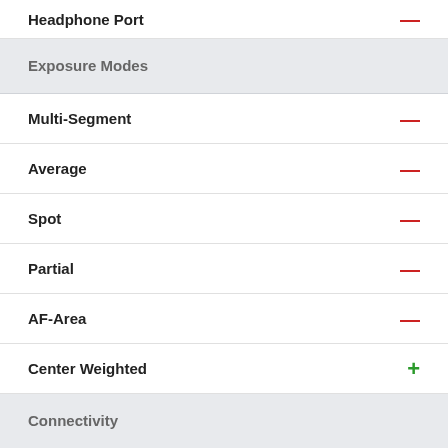Headphone Port —
Exposure Modes
Multi-Segment —
Average —
Spot —
Partial —
AF-Area —
Center Weighted +
Connectivity
GPS None